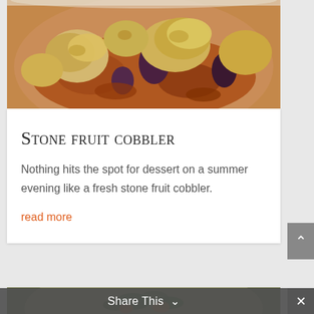[Figure (photo): Close-up photo of a stone fruit cobbler in a white baking dish, showing golden biscuit topping and caramelized fruit filling with plums and peaches]
Stone fruit cobbler
Nothing hits the spot for dessert on a summer evening like a fresh stone fruit cobbler.
read more
[Figure (photo): Partial view of a second food photo showing a dish with greens and vegetables at the bottom of the page]
Share This ∨  ×